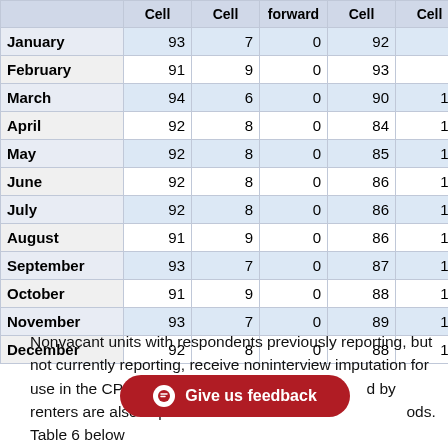|  | Cell | Cell | forward | Cell | Cell | forward |
| --- | --- | --- | --- | --- | --- | --- |
| January | 93 | 7 | 0 | 92 | 8 | 0 |
| February | 91 | 9 | 0 | 93 | 7 | 0 |
| March | 94 | 6 | 0 | 90 | 10 | 0 |
| April | 92 | 8 | 0 | 84 | 16 | 0 |
| May | 92 | 8 | 0 | 85 | 15 | 0 |
| June | 92 | 8 | 0 | 86 | 14 | 0 |
| July | 92 | 8 | 0 | 86 | 14 | 0 |
| August | 91 | 9 | 0 | 86 | 14 | 0 |
| September | 93 | 7 | 0 | 87 | 13 | 0 |
| October | 91 | 9 | 0 | 88 | 12 | 0 |
| November | 93 | 7 | 0 | 89 | 11 | 0 |
| December | 92 | 8 | 0 | 88 | 12 | 0 |
Nonvacant units with respondents previously reporting, but not currently reporting, receive noninterview imputation for use in the CPI. Vacant units that d by renters are also imputed for use in est ods. Table 6 below